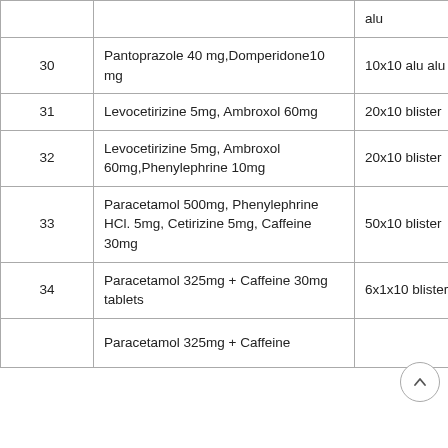| No. | Composition | Packing |
| --- | --- | --- |
|  |  | alu |
| 30 | Pantoprazole 40 mg,Domperidone10 mg | 10x10 alu alu |
| 31 | Levocetirizine 5mg, Ambroxol 60mg | 20x10 blister |
| 32 | Levocetirizine 5mg, Ambroxol 60mg,Phenylephrine 10mg | 20x10 blister |
| 33 | Paracetamol 500mg, Phenylephrine HCl. 5mg, Cetirizine 5mg, Caffeine 30mg | 50x10 blister |
| 34 | Paracetamol 325mg + Caffeine 30mg tablets | 6x1x10 blister |
|  | Paracetamol 325mg + Caffeine |  |